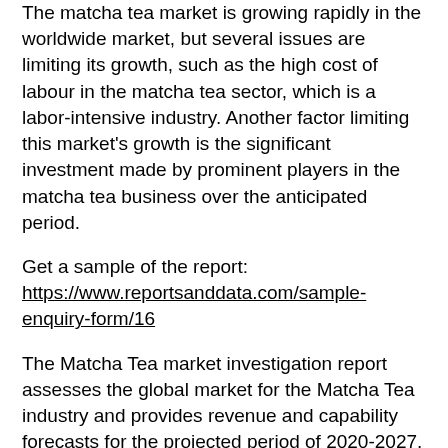The matcha tea market is growing rapidly in the worldwide market, but several issues are limiting its growth, such as the high cost of labour in the matcha tea sector, which is a labor-intensive industry. Another factor limiting this market's growth is the significant investment made by prominent players in the matcha tea business over the anticipated period.
Get a sample of the report: https://www.reportsanddata.com/sample-enquiry-form/16
The Matcha Tea market investigation report assesses the global market for the Matcha Tea industry and provides revenue and capability forecasts for the projected period of 2020-2027. The factors that drive the industry's growth are highlighted in the report. The report divides the Matcha Tea market into main categories such as forms, applications, end-users, technology, and others for a better understanding. These segments are thoroughly examined in